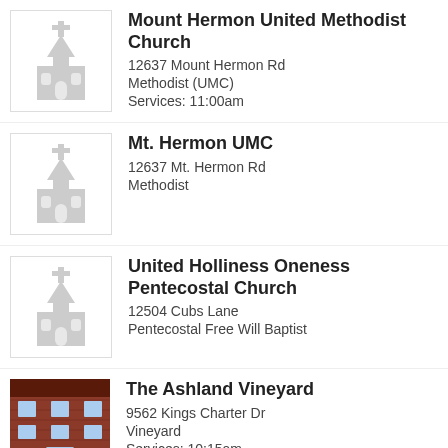[Figure (illustration): Gray church icon for Mount Hermon United Methodist Church]
Mount Hermon United Methodist Church
12637 Mount Hermon Rd
Methodist (UMC)
Services: 11:00am
[Figure (illustration): Gray church icon for Mt. Hermon UMC]
Mt. Hermon UMC
12637 Mt. Hermon Rd
Methodist
[Figure (illustration): Gray church icon for United Holliness Oneness Pentecostal Church]
United Holliness Oneness Pentecostal Church
12504 Cubs Lane
Pentecostal Free Will Baptist
[Figure (photo): Photo of brick church building for The Ashland Vineyard]
The Ashland Vineyard
9562 Kings Charter Dr
Vineyard
Services: 10:15am